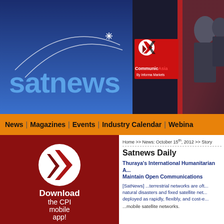satnews
[Figure (logo): CommunicAsia by Informa Markets banner with logo and people in background]
News | Magazines | Events | Industry Calendar | Webina...
[Figure (illustration): Download the CPI mobile app! advertisement with red background and white arrow logo]
Home >> News: October 15th, 2012 >> Story
Satnews Daily
Thuraya's International Humanitarian A... Maintain Open Communications
[SatNews] ...terrestrial networks are oft... natural disasters and fixed satellite net... deployed as rapidly, flexibly, and cost-e... ...mobile satellite networks.